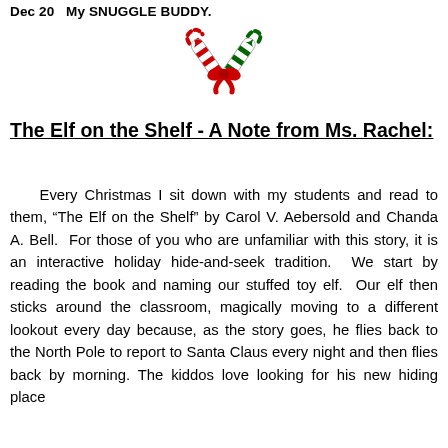Dec 20   My SNUGGLE BUDDY.
[Figure (illustration): Two candy canes crossed in a heart shape with a red bow, decorated in red and green stripes, Christmas holiday clip art.]
The Elf on the Shelf - A Note from Ms. Rachel:
Every Christmas I sit down with my students and read to them, “The Elf on the Shelf” by Carol V. Aebersold and Chanda A. Bell. For those of you who are unfamiliar with this story, it is an interactive holiday hide-and-seek tradition. We start by reading the book and naming our stuffed toy elf. Our elf then sticks around the classroom, magically moving to a different lookout every day because, as the story goes, he flies back to the North Pole to report to Santa Claus every night and then flies back by morning. The kiddos love looking for his new hiding place